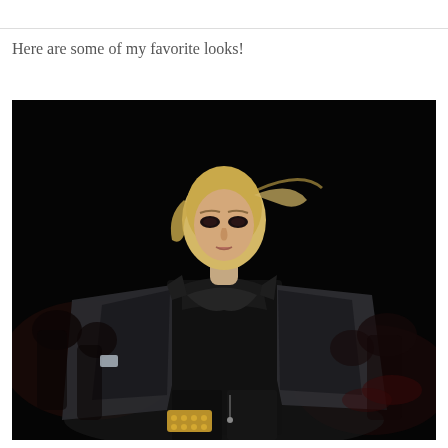Here are some of my favorite looks!
[Figure (photo): Fashion runway photo of a blonde model wearing a dramatic black cape/jacket with wide draping panels over a black top and black leather pants, with a gold studded clutch, walking on a dark runway with audience in background.]